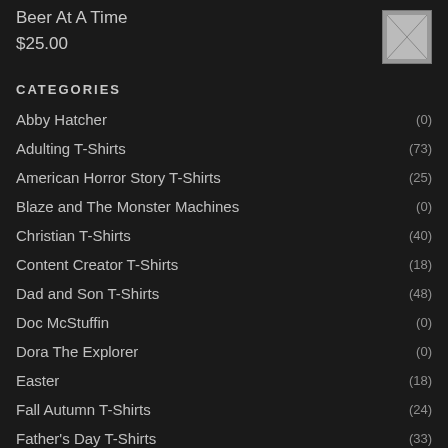Beer At A Time
$25.00
CATEGORIES
Abby Hatcher (0)
Adulting T-Shirts (73)
American Horror Story T-Shirts (25)
Blaze and The Monster Machines (0)
Christian T-Shirts (40)
Content Creator T-Shirts (18)
Dad and Son T-Shirts (48)
Doc McStuffin (0)
Dora The Explorer (0)
Easter (18)
Fall Autumn T-Shirts (24)
Father's Day T-Shirts (33)
Funny T-Shirts (132)